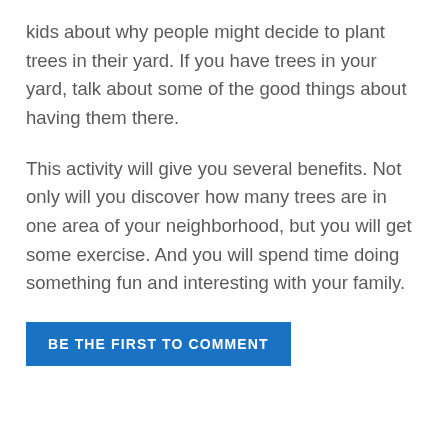kids about why people might decide to plant trees in their yard. If you have trees in your yard, talk about some of the good things about having them there.
This activity will give you several benefits. Not only will you discover how many trees are in one area of your neighborhood, but you will get some exercise. And you will spend time doing something fun and interesting with your family.
BE THE FIRST TO COMMENT